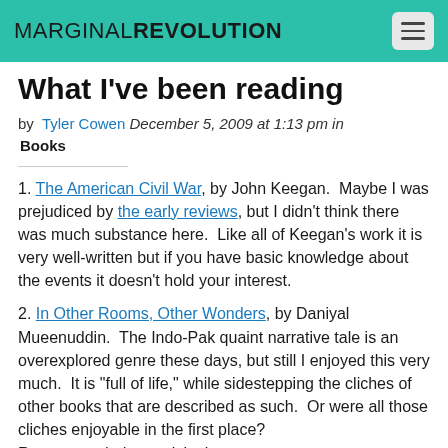MARGINAL REVOLUTION
What I've been reading
by Tyler Cowen December 5, 2009 at 1:13 pm in Books
1. The American Civil War, by John Keegan. Maybe I was prejudiced by the early reviews, but I didn't think there was much substance here. Like all of Keegan's work it is very well-written but if you have basic knowledge about the events it doesn't hold your interest.
2. In Other Rooms, Other Wonders, by Daniyal Mueenuddin. The Indo-Pak quaint narrative tale is an overexplored genre these days, but still I enjoyed this very much. It is "full of life," while sidestepping the cliches of other books that are described as such. Or were all those cliches enjoyable in the first place? Recommended, surprisingly.